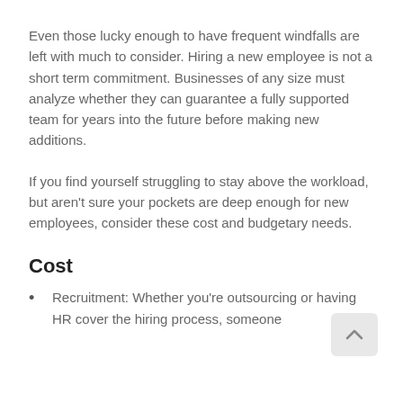Even those lucky enough to have frequent windfalls are left with much to consider. Hiring a new employee is not a short term commitment. Businesses of any size must analyze whether they can guarantee a fully supported team for years into the future before making new additions.
If you find yourself struggling to stay above the workload, but aren't sure your pockets are deep enough for new employees, consider these cost and budgetary needs.
Cost
Recruitment: Whether you're outsourcing or having HR cover the hiring process, someone